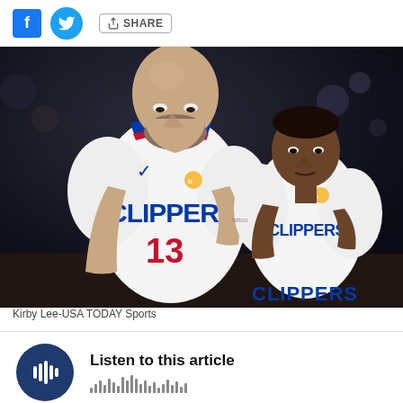Share
[Figure (photo): Two LA Clippers players in white uniforms — a tall bald bearded player wearing #13 and a shorter player — talking during a game. Dark arena background.]
Kirby Lee-USA TODAY Sports
Listen to this article